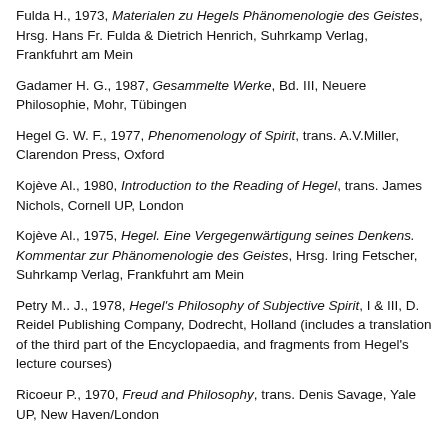Fulda H., 1973, Materialen zu Hegels Phänomenologie des Geistes, Hrsg. Hans Fr. Fulda & Dietrich Henrich, Suhrkamp Verlag, Frankfuhrt am Mein
Gadamer H. G., 1987, Gesammelte Werke, Bd. III, Neuere Philosophie, Mohr, Tübingen
Hegel G. W. F., 1977, Phenomenology of Spirit, trans. A.V.Miller, Clarendon Press, Oxford
Kojève Al., 1980, Introduction to the Reading of Hegel, trans. James Nichols, Cornell UP, London
Kojève Al., 1975, Hegel. Eine Vergegenwärtigung seines Denkens. Kommentar zur Phänomenologie des Geistes, Hrsg. Iring Fetscher, Suhrkamp Verlag, Frankfuhrt am Mein
Petry M.. J., 1978, Hegel's Philosophy of Subjective Spirit, I & III, D. Reidel Publishing Company, Dodrecht, Holland (includes a translation of the third part of the Encyclopaedia, and fragments from Hegel's lecture courses)
Ricoeur P., 1970, Freud and Philosophy, trans. Denis Savage, Yale UP, New Haven/London